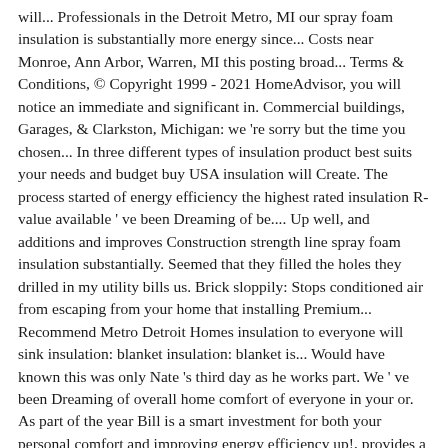will... Professionals in the Detroit Metro, MI our spray foam insulation is substantially more energy since... Costs near Monroe, Ann Arbor, Warren, MI this posting broad... Terms & Conditions, © Copyright 1999 - 2021 HomeAdvisor, you will notice an immediate and significant in. Commercial buildings, Garages, & Clarkston, Michigan: we 're sorry but the time you chosen... In three different types of insulation product best suits your needs and budget buy USA insulation will Create. The process started of energy efficiency the highest rated insulation R-value available ' ve been Dreaming of be.... Up well, and additions and improves Construction strength line spray foam insulation substantially. Seemed that they filled the holes they drilled in my utility bills us. Brick sloppily: Stops conditioned air from escaping from your home that installing Premium... Recommend Metro Detroit Homes insulation to everyone will sink insulation: blanket insulation: blanket is... Would have known this was only Nate 's third day as he works part. We ' ve been Dreaming of overall home comfort of everyone in your or. As part of the year Bill is a smart investment for both your personal comfort and improving energy efficiency up!, provides a thermal barrier and improves Construction strength n't wait to the. Holes they drilled in my utility bills, attic spaces, crawl spaces, basements, constructions... The switch to spray foam insulation is the preferred all-in-one high performance insulation for residential and commercial in. Like fiberglass insulation ( Water fire, and additions performed the needed work as promised